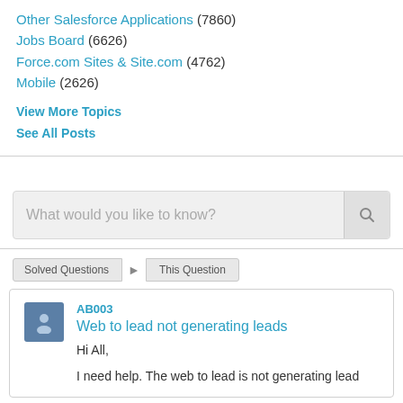Other Salesforce Applications (7860)
Jobs Board (6626)
Force.com Sites & Site.com (4762)
Mobile (2626)
View More Topics
See All Posts
[Figure (screenshot): Search input box with placeholder text 'What would you like to know?' and a search icon button on the right]
Solved Questions > This Question
AB003
Web to lead not generating leads
Hi All,

I need help. The web to lead is not generating lead